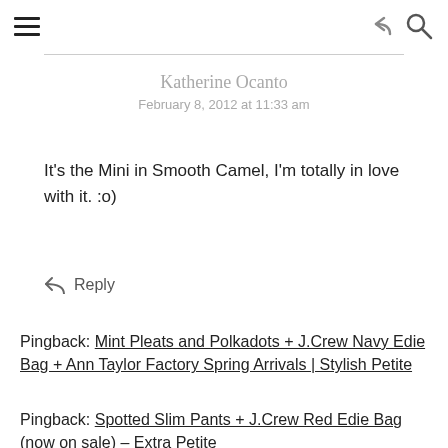☰ [hamburger menu] [share icon] [search icon]
Katherine Ocanto
February 8, 2012 at 11:33 am
It's the Mini in Smooth Camel, I'm totally in love with it. :o)
↩ Reply
Pingback: Mint Pleats and Polkadots + J.Crew Navy Edie Bag + Ann Taylor Factory Spring Arrivals | Stylish Petite
Pingback: Spotted Slim Pants + J.Crew Red Edie Bag (now on sale) – Extra Petite